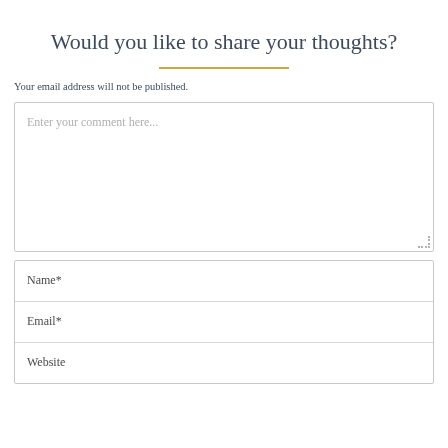Would you like to share your thoughts?
Your email address will not be published.
[Figure (other): Comment textarea input field with placeholder text 'Enter your comment here...']
[Figure (other): Form fields box with Name*, Email*, and Website input fields]